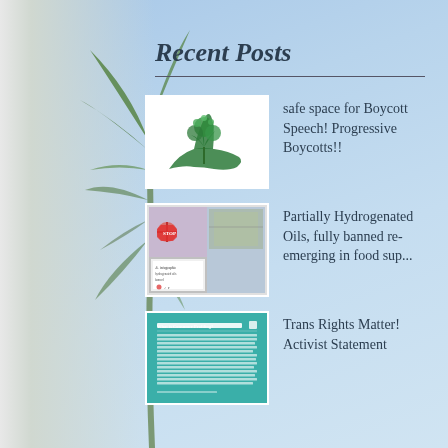Recent Posts
[Figure (illustration): Green hand holding a plant/tree logo on white background]
safe space for Boycott Speech! Progressive Boycotts!!
[Figure (screenshot): Collage/social media screenshot with protest images and infographic about Partially Hydrogenated Oils]
Partially Hydrogenated Oils, fully banned re-emerging in food sup...
[Figure (screenshot): Screenshot of article page with teal/green background titled 'What is Consumer Profiling?']
Trans Rights Matter! Activist Statement